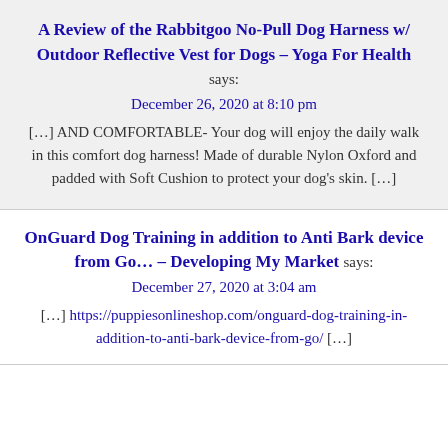A Review of the Rabbitgoo No-Pull Dog Harness w/ Outdoor Reflective Vest for Dogs – Yoga For Health says:
December 26, 2020 at 8:10 pm
[…] AND COMFORTABLE- Your dog will enjoy the daily walk in this comfort dog harness! Made of durable Nylon Oxford and padded with Soft Cushion to protect your dog's skin. […]
OnGuard Dog Training in addition to Anti Bark device from Go… – Developing My Market says:
December 27, 2020 at 3:04 am
[…] https://puppiesonlineshop.com/onguard-dog-training-in-addition-to-anti-bark-device-from-go/ […]